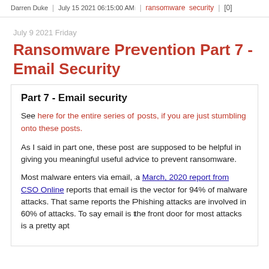Darren Duke | July 15 2021 06:15:00 AM | ransomware security | [0]
July 9 2021 Friday
Ransomware Prevention Part 7 - Email Security
Part 7 - Email security
See here for the entire series of posts, if you are just stumbling onto these posts.
As I said in part one, these post are supposed to be helpful in giving you meaningful useful advice to prevent ransomware.
Most malware enters via email, a March, 2020 report from CSO Online reports that email is the vector for 94% of malware attacks. That same reports the Phishing attacks are involved in 60% of attacks. To say email is the front door for most attacks is a pretty apt